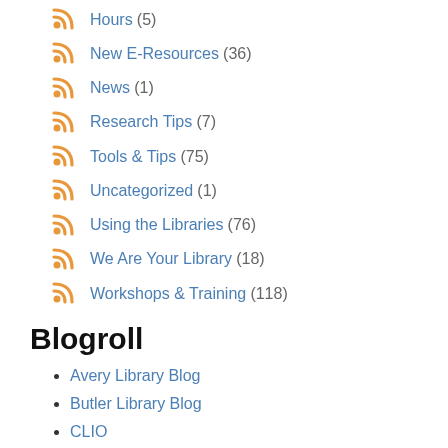Hours (5)
New E-Resources (36)
News (1)
Research Tips (7)
Tools & Tips (75)
Uncategorized (1)
Using the Libraries (76)
We Are Your Library (18)
Workshops & Training (118)
Blogroll
Avery Library Blog
Butler Library Blog
CLIO
Columbia Center for Oral History
Columbia University Libraries
Columbia University Libraries Facebook
Columbia University Libraries News